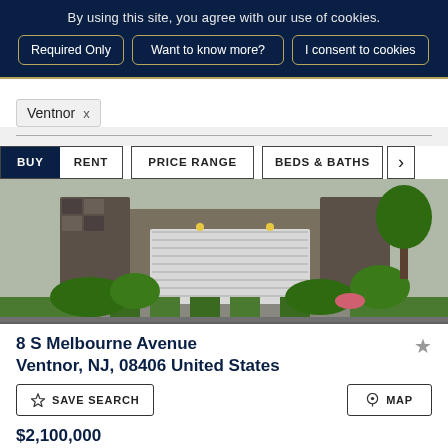By using this site, you agree with our use of cookies.
Required Only | Want to know more? | I consent to cookies
Ventnor ×
BUY  RENT  PRICE RANGE  BEDS & BATHS  >
[Figure (photo): Exterior photo of a modern house with green landscaping, stone facade, white garage door, and a driveway.]
8 S Melbourne Avenue
Ventnor, NJ, 08406 United States
☆ SAVE SEARCH
⊙ MAP
$2,100,000
6 Bedrooms • 6 Bathrooms